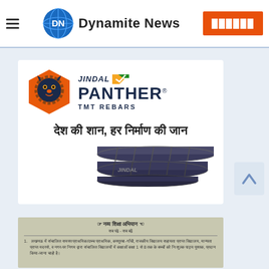Dynamite News
[Figure (logo): Jindal Panther TMT Rebars advertisement banner with orange hexagon logo with lion face, JINDAL PANTHER TMT REBARS text, Hindi text 'desh ki shaan, har nirman ki jaan', and steel rebar rods image]
[Figure (photo): Scanned Hindi government document about Navya Shiksha Abhiyan with numbered list items in Hindi text]
नव्य शिक्षा अभियान